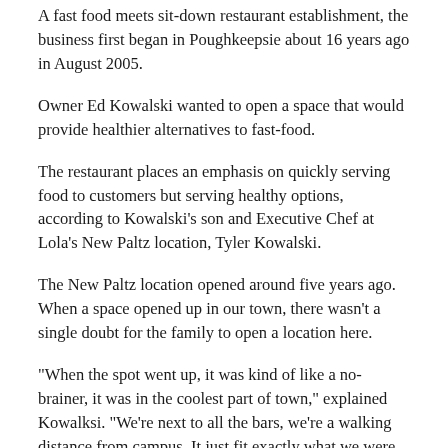A fast food meets sit-down restaurant establishment, the business first began in Poughkeepsie about 16 years ago in August 2005.
Owner Ed Kowalski wanted to open a space that would provide healthier alternatives to fast-food.
The restaurant places an emphasis on quickly serving food to customers but serving healthy options, according to Kowalski’s son and Executive Chef at Lola’s New Paltz location, Tyler Kowalski.
The New Paltz location opened around five years ago. When a space opened up in our town, there wasn’t a single doubt for the family to open a location here.
“When the spot went up, it was kind of like a no-brainer, it was in the coolest part of town,” explained Kowalksi. “We’re next to all the bars, we’re a walking distance from campus. It just fit exactly what we were looking for.”
Lola’s is centered at 49 Main Street. On the corner of the intersection right across from what was once Flames Pizza and diagonally across